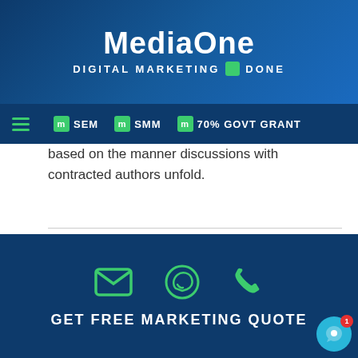[Figure (logo): MediaOne Digital Marketing Done logo with white text on blue gradient background]
SEM | SMM | 70% GOVT GRANT navigation bar
based on the manner discussions with contracted authors unfold.
Share:
[Figure (infographic): Social share icons: Facebook, Twitter, LinkedIn]
GET FREE MARKETING QUOTE with email, WhatsApp, and phone icons